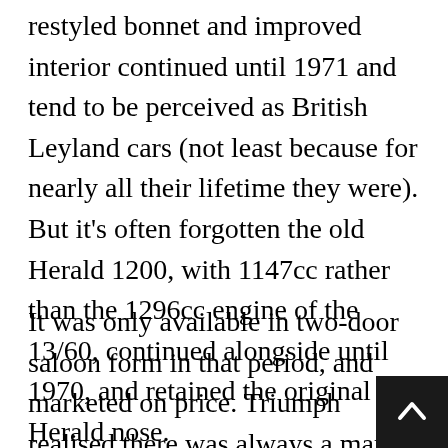restyled bonnet and improved interior continued until 1971 and tend to be perceived as British Leyland cars (not least because for nearly all their lifetime they were). But it’s often forgotten the old Herald 1200, with 1147cc rather than the 1296cc engine of the 13/60, continued alongside until 1970, and retained the original Herald nose.
It was only available in two-door saloon form in that period, and marketed on price. Triumph realised there was always a market for ‘cheap wheels’ and the Herald 1200 was a firm favourite of driving